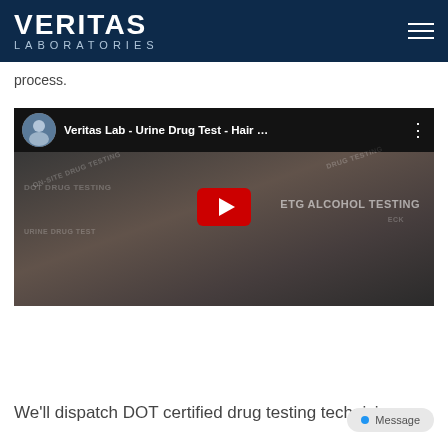VERITAS LABORATORIES
process.
[Figure (screenshot): YouTube video embed showing 'Veritas Lab - Urine Drug Test - Hair ...' with video thumbnail featuring a hand pointing at drug testing text overlays including DOT DRUG TESTING, ON-SITE DRUG TESTING, ETG ALCOHOL TESTING, URINE DRUG TEST labels on dark background with red play button]
We'll dispatch DOT certified drug testing technicians